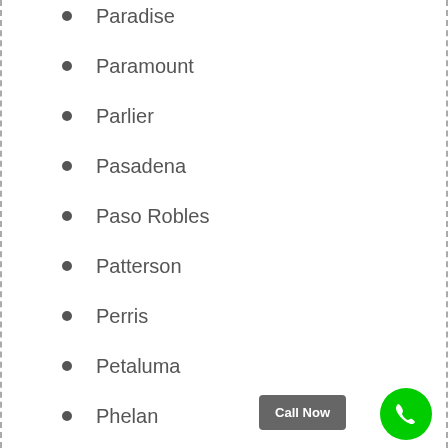Paradise
Paramount
Parlier
Pasadena
Paso Robles
Patterson
Perris
Petaluma
Phelan
Pico Rivera